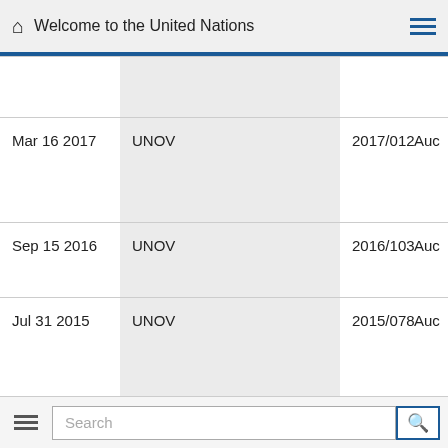Welcome to the United Nations
| Date | Organization | Reference | Type |
| --- | --- | --- | --- |
|  |  |  |  |
| Mar 16 2017 | UNOV | 2017/012 | Auc |
| Sep 15 2016 | UNOV | 2016/103 | Auc |
| Jul 31 2015 | UNOV | 2015/078 | Auc |
| Aug 25 2017 | UNOV | 2017/087 | Auc |
Search